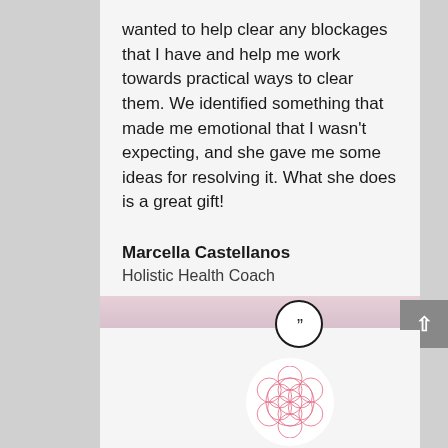wanted to help clear any blockages that I have and help me work towards practical ways to clear them. We identified something that made me emotional that I wasn't expecting, and she gave me some ideas for resolving it. What she does is a great gift!
Marcella Castellanos
Holistic Health Coach
[Figure (illustration): Close-quote marks icon inside a circle, dividing two testimonial cards]
[Figure (logo): Flower of Life sacred geometry symbol in pink/red outline on white circular background]